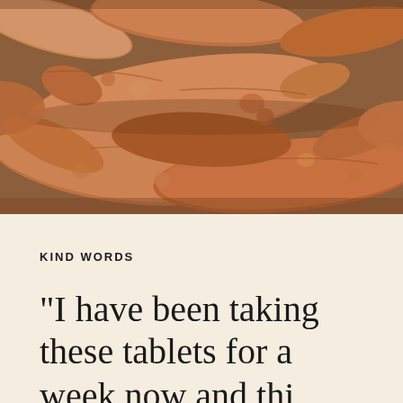[Figure (photo): Close-up photograph of turmeric roots/rhizomes piled together, showing their characteristic rough, brownish-orange skin and knobby texture.]
KIND WORDS
"I have been taking these tablets for a week now and thi